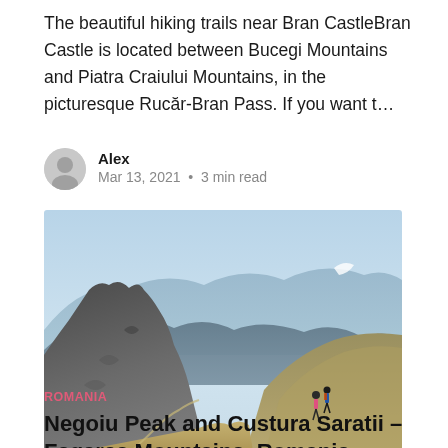The beautiful hiking trails near Bran CastleBran Castle is located between Bucegi Mountains and Piatra Craiului Mountains, in the picturesque Rucăr-Bran Pass. If you want t…
Alex
Mar 13, 2021 • 3 min read
[Figure (photo): Mountain hiking trail panorama showing rocky peaks, blue hazy mountain ranges in background, and two hikers on a grassy ridge slope in the foreground]
ROMANIA
Negoiu Peak and Custura Saratii – Fagaras Mountains, Romania